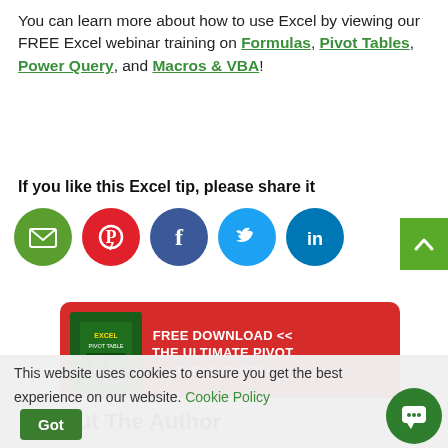You can learn more about how to use Excel by viewing our FREE Excel webinar training on Formulas, Pivot Tables, Power Query, and Macros & VBA!
If you like this Excel tip, please share it
[Figure (infographic): Social sharing icons: Email (green circle), Pinterest (red circle), Facebook (dark blue circle), Twitter (light blue circle), LinkedIn (blue circle)]
[Figure (infographic): Red banner ad: FREE DOWNLOAD << THE ULTIMATE PIVOT TABLE GUIDE! with book image on left]
About The Author
This website uses cookies to ensure you get the best experience on our website. Cookie Policy